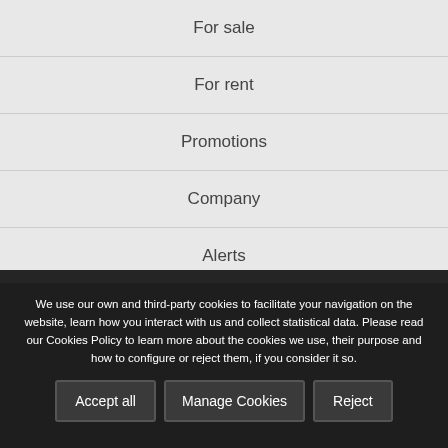For sale
For rent
Promotions
Company
Alerts
List your property
Privacy policy
We use our own and third-party cookies to facilitate your navigation on the website, learn how you interact with us and collect statistical data. Please read our Cookies Policy to learn more about the cookies we use, their purpose and how to configure or reject them, if you consider it so.
Accept all | Manage Cookies | Reject